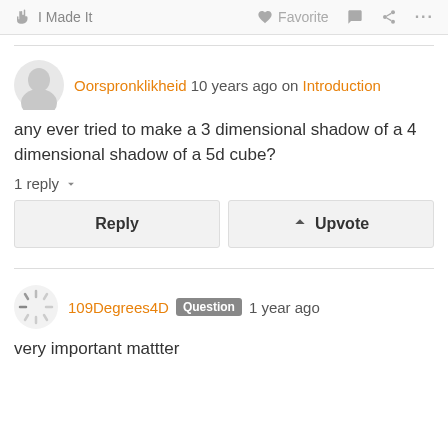I Made It  Favorite  ...
Oorspronklikheid 10 years ago on Introduction
any ever tried to make a 3 dimensional shadow of a 4 dimensional shadow of a 5d cube?
1 reply
Reply  Upvote
109Degrees4D Question 1 year ago
very important mattter